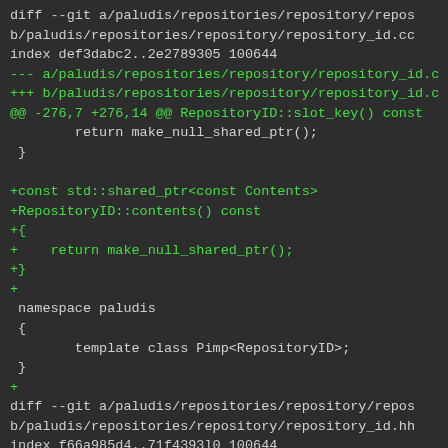[Figure (screenshot): Git diff output showing code changes in a terminal/dark-theme code viewer. Green lines indicate additions (+), white/gray lines are context. The diff shows changes to paludis/repositories/repository/repository_id.cc and repository_id.hh files, adding a RepositoryID::contents() const method that returns make_null_shared_ptr().]